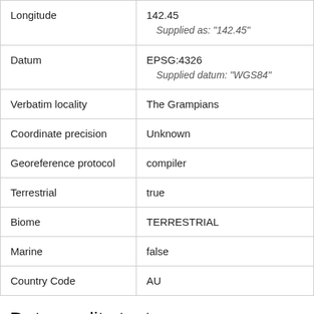| Field | Value |
| --- | --- |
| Longitude | 142.45
Supplied as: "142.45" |
| Datum | EPSG:4326
Supplied datum: "WGS84" |
| Verbatim locality | The Grampians |
| Coordinate precision | Unknown |
| Georeference protocol | compiler |
| Terrestrial | true |
| Biome | TERRESTRIAL |
| Marine | false |
| Country Code | AU |
Data quality tests
| Test name | Result |
| --- | --- |